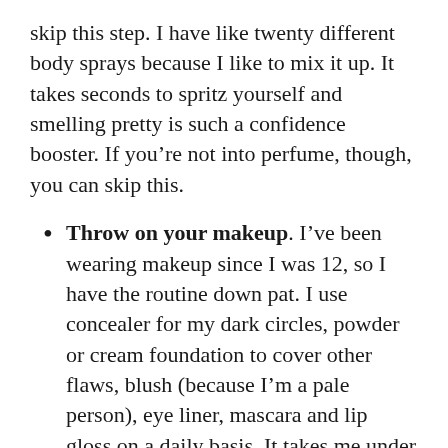skip this step. I have like twenty different body sprays because I like to mix it up. It takes seconds to spritz yourself and smelling pretty is such a confidence booster. If you're not into perfume, though, you can skip this.
Throw on your makeup. I've been wearing makeup since I was 12, so I have the routine down pat. I use concealer for my dark circles, powder or cream foundation to cover other flaws, blush (because I'm a pale person), eye liner, mascara and lip gloss on a daily basis. It takes me under two minutes to apply all of the above. If you're in a rush, go with the bare minimum. Mascara and lip gloss